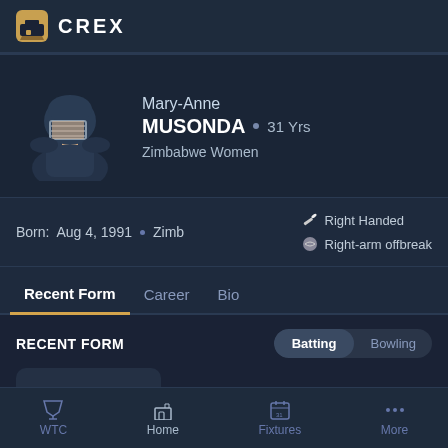CREX
Mary-Anne MUSONDA • 31 Yrs
Zimbabwe Women
Born: Aug 4, 1991 • Zimb
Right Handed
Right-arm offbreak
Recent Form | Career | Bio
RECENT FORM
Batting | Bowling